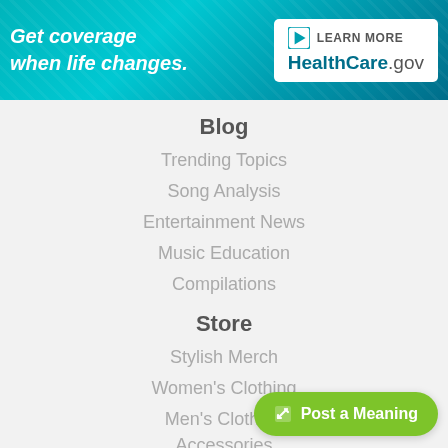[Figure (infographic): HealthCare.gov advertisement banner: 'Get coverage when life changes.' with LEARN MORE and HealthCare.gov branding on teal background]
Blog
Trending Topics
Song Analysis
Entertainment News
Music Education
Compilations
Store
Stylish Merch
Women's Clothing
Men's Clothing
Accessories
Post a Meaning